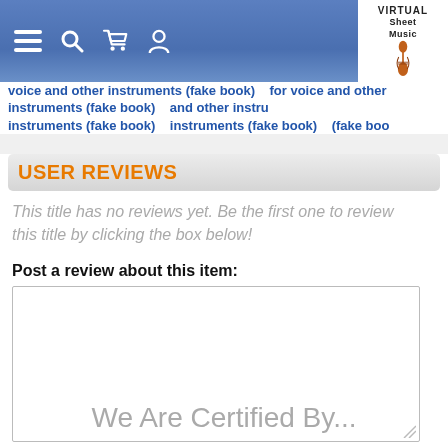Virtual Sheet Music — navigation header with icons and logo
voice and other instruments (fake book)   for voice and other instruments (fake book)   and other instruments (fake book)
USER REVIEWS
This title has no reviews yet. Be the first one to review this title by clicking the box below!
Post a review about this item:
We Are Certified By...